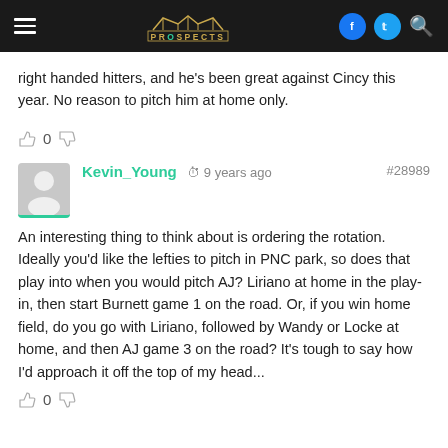Prospects (navigation bar with logo, hamburger menu, Facebook, Twitter, Search icons)
right handed hitters, and he's been great against Cincy this year. No reason to pitch him at home only.
👍 0 👎
Kevin_Young  🕐 9 years ago  #28989
An interesting thing to think about is ordering the rotation. Ideally you'd like the lefties to pitch in PNC park, so does that play into when you would pitch AJ? Liriano at home in the play-in, then start Burnett game 1 on the road. Or, if you win home field, do you go with Liriano, followed by Wandy or Locke at home, and then AJ game 3 on the road? It's tough to say how I'd approach it off the top of my head...
👍 0 👎